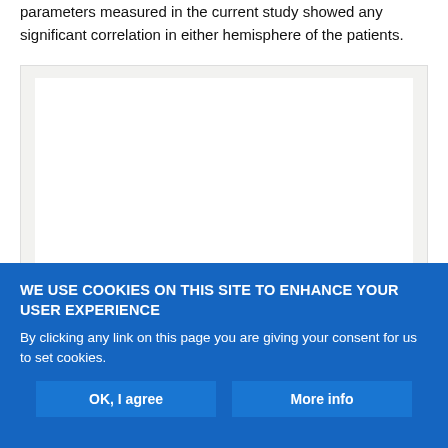parameters measured in the current study showed any significant correlation in either hemisphere of the patients.
[Figure (other): White/blank figure placeholder within a light grey bordered container]
WE USE COOKIES ON THIS SITE TO ENHANCE YOUR USER EXPERIENCE
By clicking any link on this page you are giving your consent for us to set cookies.